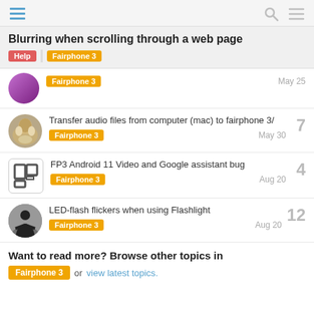Blurring when scrolling through a web page
Blurring when scrolling through a web page
Fairphone 3 | May 25
Transfer audio files from computer (mac) to fairphone 3/ | Fairphone 3 | May 30 | 7
FP3 Android 11 Video and Google assistant bug | Fairphone 3 | Aug 20 | 4
LED-flash flickers when using Flashlight | Fairphone 3 | Aug 20 | 12
Want to read more? Browse other topics in Fairphone 3 or view latest topics.